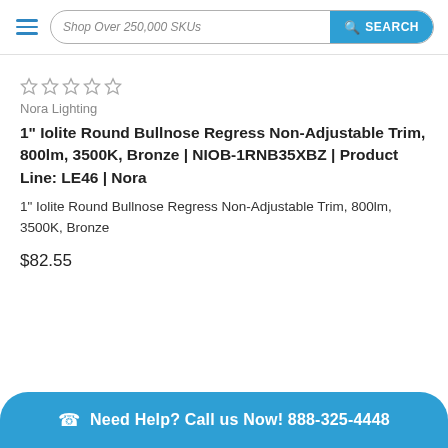Shop Over 250,000 SKUs  SEARCH
[Figure (other): Five empty star rating icons in gray]
Nora Lighting
1" Iolite Round Bullnose Regress Non-Adjustable Trim, 800lm, 3500K, Bronze | NIOB-1RNB35XBZ | Product Line: LE46 | Nora
1" Iolite Round Bullnose Regress Non-Adjustable Trim, 800lm, 3500K, Bronze
$82.55
Need Help? Call us Now! 888-325-4448